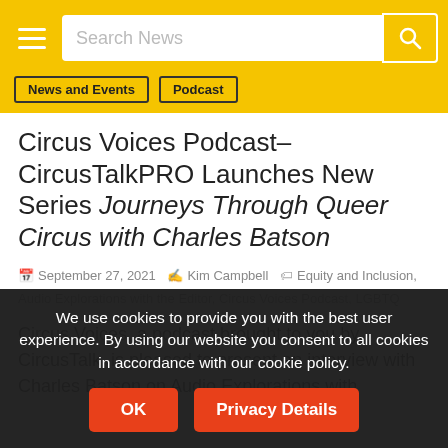Search News
News and Events
Podcast
Circus Voices Podcast– CircusTalkPRO Launches New Series Journeys Through Queer Circus with Charles Batson
September 27, 2021  Kim Campbell  Equity and Inclusion, Audio Explorations with the Editor, Circus Voices Podcast, LGBTQ
Circus Voices, a podcast brought to you by CircusTalk, is pleased to present an interview with Charles Batson on Audio Explorations with
We use cookies to provide you with the best user experience. By using our website you consent to all cookies in accordance with our cookie policy.